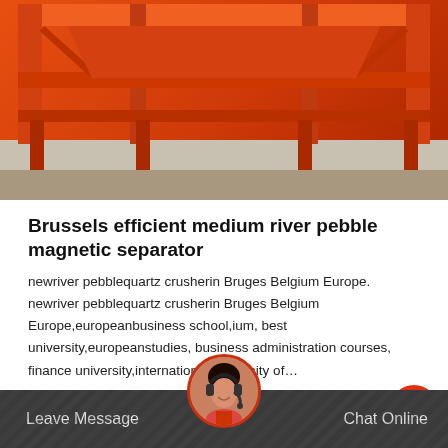[Figure (photo): Orange industrial magnetic separator equipment/frame structure photographed on concrete floor]
Brussels efficient medium river pebble magnetic separator
newriver pebblequartz crusherin Bruges Belgium Europe. newriver pebblequartz crusherin Bruges Belgium Europe,europeanbusiness school,ium, best university,europeanstudies, business administration courses, finance university,international university of…
Get Price
Leave Message  Chat Online